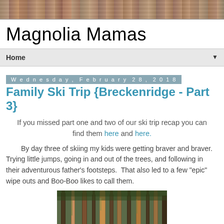[Figure (photo): Horizontal wood plank texture banner at the top of the page]
Magnolia Mamas
Home ▼
Wednesday, February 28, 2018
Family Ski Trip {Breckenridge - Part 3}
If you missed part one and two of our ski trip recap you can find them here and here.
By day three of skiing my kids were getting braver and braver.  Trying little jumps, going in and out of the trees, and following in their adventurous father's footsteps.  That also led to a few "epic" wipe outs and Boo-Boo likes to call them.
[Figure (photo): Photograph of trees in a forest, likely taken at a ski resort in Breckenridge]